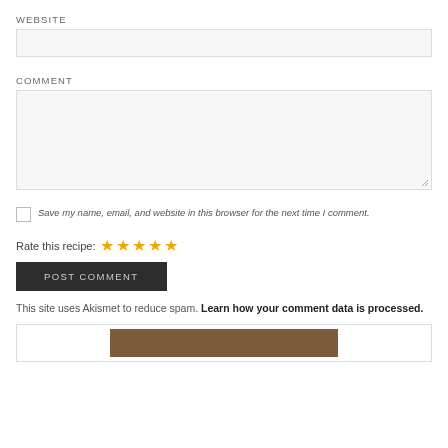WEBSITE
[Figure (other): Empty website input field]
COMMENT
[Figure (other): Empty comment textarea with resize handle]
Save my name, email, and website in this browser for the next time I comment.
Rate this recipe: ★★★★★
POST COMMENT
This site uses Akismet to reduce spam. Learn how your comment data is processed.
[Figure (photo): Partial image visible at bottom of page]